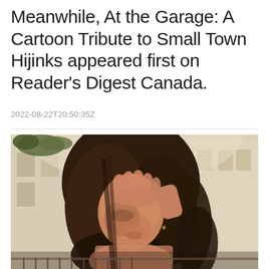Meanwhile, At the Garage: A Cartoon Tribute to Small Town Hijinks appeared first on Reader's Digest Canada.
2022-08-22T20:50:35Z
[Figure (photo): A young woman with long brown hair holds her hand up to her forehead, photographed outdoors against a building facade background.]